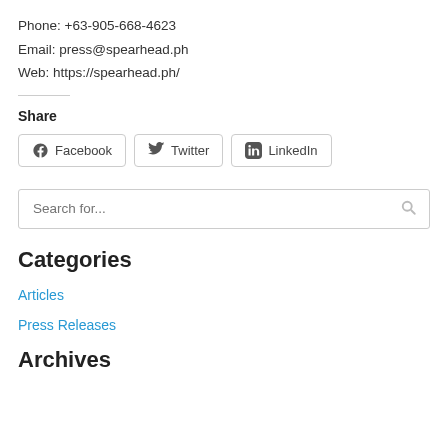Phone: +63-905-668-4623
Email: press@spearhead.ph
Web: https://spearhead.ph/
Share
[Figure (other): Social share buttons for Facebook, Twitter, and LinkedIn]
[Figure (other): Search bar with placeholder text 'Search for...' and a search icon]
Categories
Articles
Press Releases
Archives